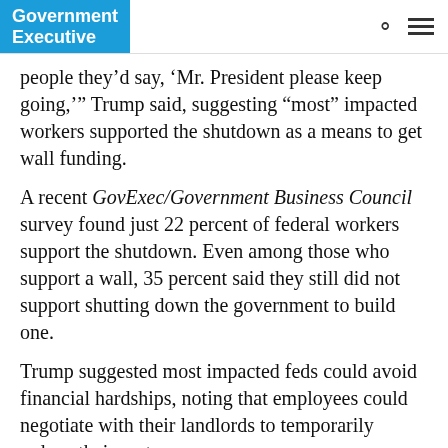Government Executive
people they’d say, ‘Mr. President please keep going,’” Trump said, suggesting “most” impacted workers supported the shutdown as a means to get wall funding.
A recent GovExec/Government Business Council survey found just 22 percent of federal workers support the shutdown. Even among those who support a wall, 35 percent said they still did not support shutting down the government to build one.
Trump suggested most impacted feds could avoid financial hardships, noting that employees could negotiate with their landlords to temporarily reduce their rents.
· · · · · · Story Continues Below Sponsor Message · · · · · ·
[Figure (photo): Partial sponsor advertisement image showing blue abstract background]